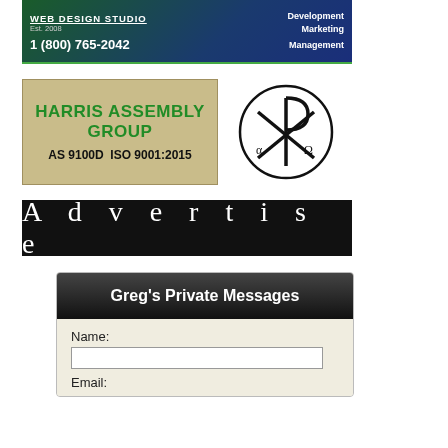[Figure (logo): Web Design Studio banner with green-to-blue gradient background, showing 'WEB DESIGN STUDIO', 'Est. 2008', '1 (800) 765-2042', 'Development', 'Marketing', 'Management']
[Figure (logo): Harris Assembly Group logo on beige background with text 'HARRIS ASSEMBLY GROUP' in green and 'AS 9100D ISO 9001:2015' in black, next to a Chi-Rho symbol in a circle]
[Figure (logo): Black banner with white spaced text 'A d v e r t i s e']
[Figure (screenshot): Greg's Private Messages form box with dark header and fields for Name and Email on beige background]